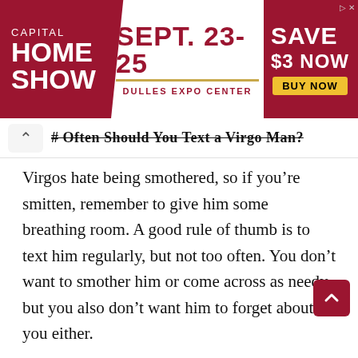[Figure (other): Advertisement banner for Capital Home Show, Sept. 23-25, Dulles Expo Center, Save $3 Now, Buy Now button]
# Often Should You Text a Virgo Man?
Virgos hate being smothered, so if you’re smitten, remember to give him some breathing room. A good rule of thumb is to text him regularly, but not too often. You don’t want to smother him or come across as needy, but you also don’t want him to forget about you either.
Try sending him a text once or twice a day, and adjust accordingly based on his response. If he seems happy to hear from you and responds